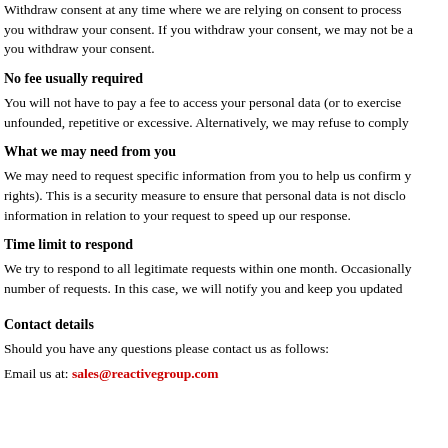Withdraw consent at any time where we are relying on consent to process you withdraw your consent. If you withdraw your consent, we may not be a you withdraw your consent.
No fee usually required
You will not have to pay a fee to access your personal data (or to exercise unfounded, repetitive or excessive. Alternatively, we may refuse to comply
What we may need from you
We may need to request specific information from you to help us confirm y rights). This is a security measure to ensure that personal data is not disclo information in relation to your request to speed up our response.
Time limit to respond
We try to respond to all legitimate requests within one month. Occasionally number of requests. In this case, we will notify you and keep you updated
Contact details
Should you have any questions please contact us as follows:
Email us at: sales@reactivegroup.com